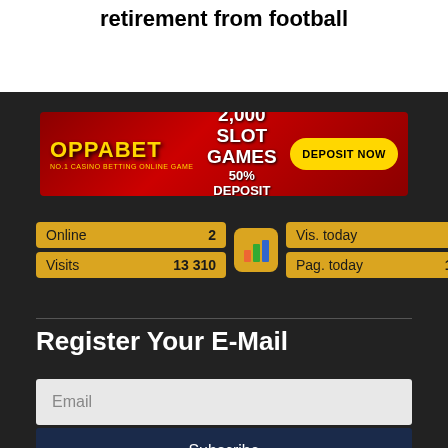retirement from football
[Figure (illustration): OppaBet casino advertisement banner: red background with gold text OPPABET, 'OVER 2,000 SLOT GAMES 50% DEPOSIT BONUS', yellow DEPOSIT NOW button]
Online 2
Visits 13 310
Vis. today 41
Pag. today 100
Register Your E-Mail
Email
Subscribe